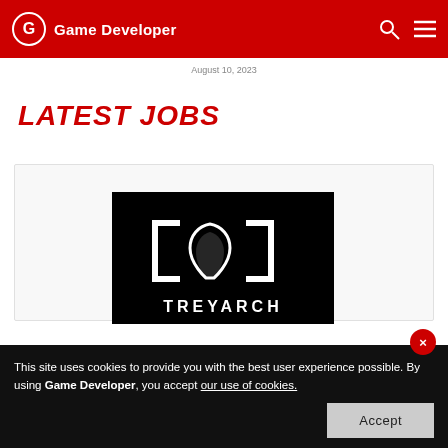Game Developer
August 10, 2023
LATEST JOBS
[Figure (logo): Treyarch logo on black background]
This site uses cookies to provide you with the best user experience possible. By using Game Developer, you accept our use of cookies.